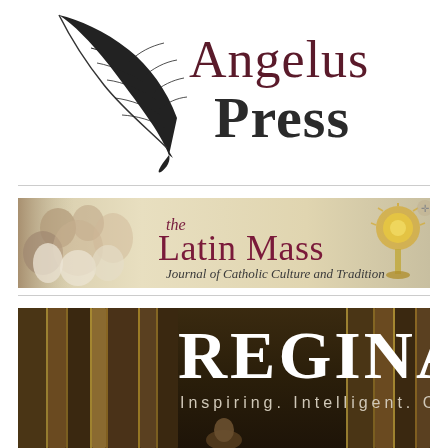[Figure (logo): Angelus Press logo with feather quill and text 'Angelus Press' in serif and bold fonts]
[Figure (illustration): The Latin Mass - Journal of Catholic Culture and Tradition banner with angels and monstrance imagery]
[Figure (illustration): REGINA magazine banner - Inspiring. Intelligent. Catholic. with dark book/pillar background]